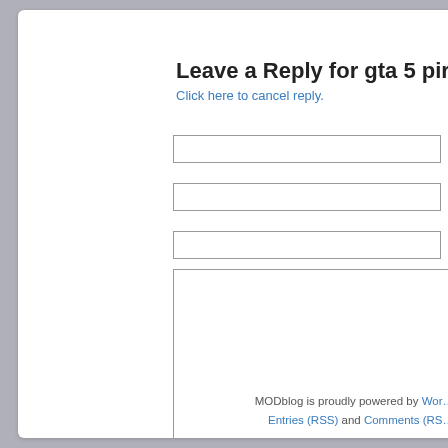Leave a Reply for gta 5 pirates
Click here to cancel reply.
Name
Mail (will not be published)
Website
MODblog is proudly powered by WordPress. Entries (RSS) and Comments (RSS)